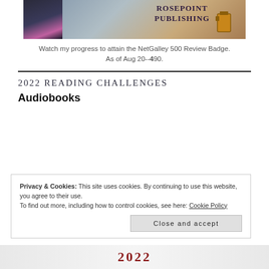[Figure (logo): Rosepoint Publishing banner with bookshelf background, left photo inset, and text 'Rosepoint Publishing' in the center]
Watch my progress to attain the NetGalley 500 Review Badge.
As of Aug 20--490.
2022 READING CHALLENGES
Audiobooks
Privacy & Cookies: This site uses cookies. By continuing to use this website, you agree to their use.
To find out more, including how to control cookies, see here: Cookie Policy
Close and accept
[Figure (other): Bottom strip showing partial 2022 reading challenge image with red '2022' text]